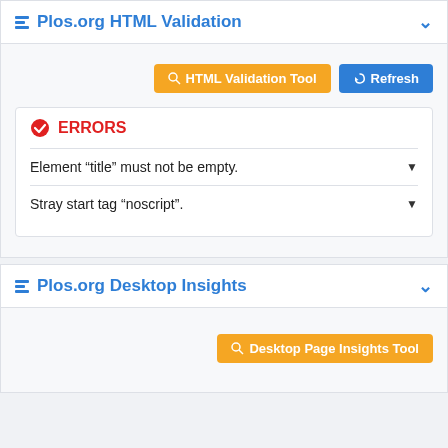Plos.org HTML Validation
[Figure (screenshot): Buttons: HTML Validation Tool (orange) and Refresh (blue)]
ERRORS
Element “title” must not be empty.
Stray start tag “noscript”.
Plos.org Desktop Insights
[Figure (screenshot): Button: Desktop Page Insights Tool (orange)]